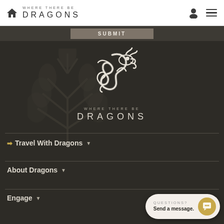WHERE THERE BE DRAGONS — navigation bar with home icon, user icon, menu icon
SUBMIT
[Figure (logo): Where There Be Dragons white dragon logo on dark background with text WHERE THERE BE / DRAGONS]
→ Travel With Dragons ▾
About Dragons ▾
Engage ▾
QUESTIONS? Send a message.